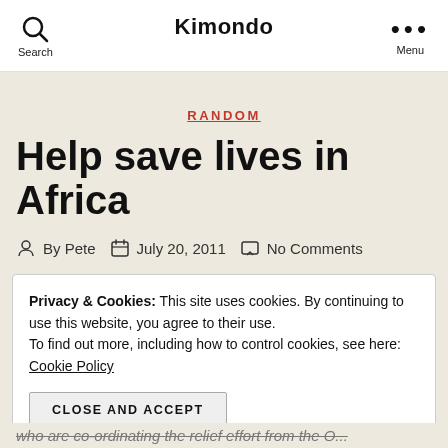Search  Kimondo  Menu
RANDOM
Help save lives in Africa
By Pete  July 20, 2011  No Comments
Privacy & Cookies: This site uses cookies. By continuing to use this website, you agree to their use. To find out more, including how to control cookies, see here: Cookie Policy
CLOSE AND ACCEPT
who are co-ordinating the relief effort from the O...